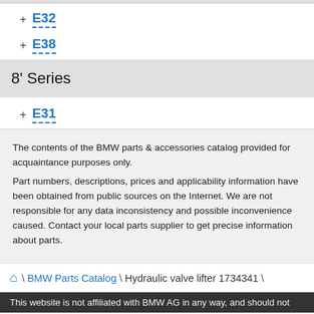+ E32
+ E38
8' Series
+ E31
The contents of the BMW parts & accessories catalog provided for acquaintance purposes only. Part numbers, descriptions, prices and applicability information have been obtained from public sources on the Internet. We are not responsible for any data inconsistency and possible inconvenience caused. Contact your local parts supplier to get precise information about parts.
\ BMW Parts Catalog \ Hydraulic valve lifter 1734341 \
This website is not affiliated with BMW AG in any way, and should not